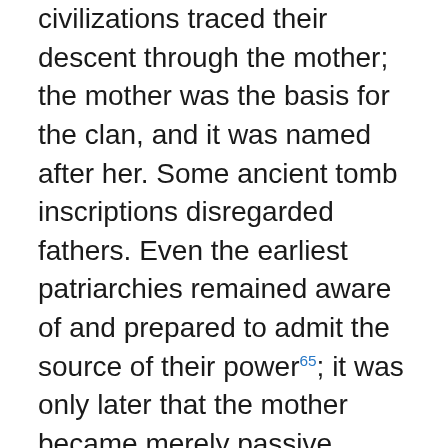civilizations traced their descent through the mother; the mother was the basis for the clan, and it was named after her. Some ancient tomb inscriptions disregarded fathers. Even the earliest patriarchies remained aware of and prepared to admit the source of their power[65]; it was only later that the mother became merely passive vessel, particularly in Greek philosophy. Pharaohs ruled by matrilineal succession. The throne itself is a stylization of the lap of the Mother; that's where the power came from, being a child of the Mother[66]. The pharaoh's title was originally Great Gate or Great House, symbolic of the cosmic Womb, by whose power he ruled. Since women were the first measurers of time, the Sanskrit word “matra” and the Greek “meter” both mean “mother” and “measurement”. In some civilizations the female skill in mathematics was thought to be associated with their ability to give birth. In many cultures, ancient stories tell of